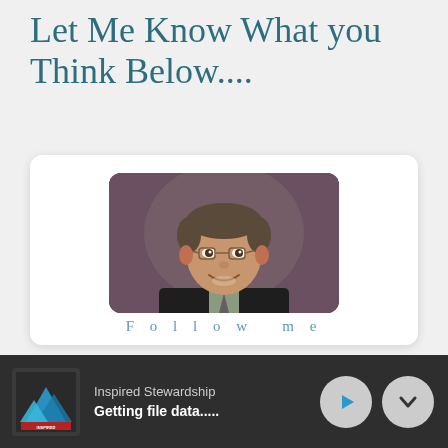Let Me Know What you Think Below....
[Figure (photo): Profile photo of a middle-aged man with glasses, wearing a dark suit and light shirt, smiling, with a rounded-rectangle crop on a purple-grey background]
Follow me
Inspired Stewardship
Getting file data.....